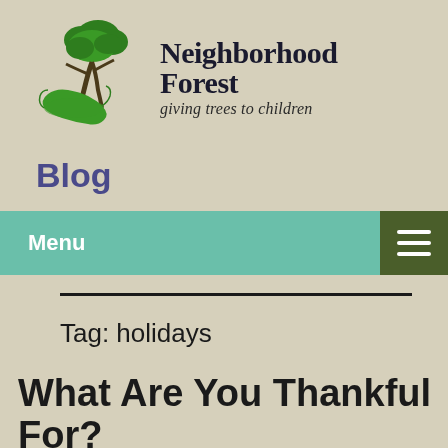[Figure (logo): Neighborhood Forest logo: green tree with hand illustration on left, 'Neighborhood Forest' in bold black handwritten font, subtitle 'giving trees to children' in italic below]
Blog
Menu
Tag: holidays
What Are You Thankful For?